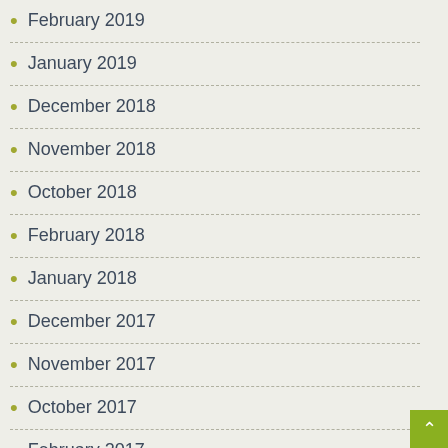February 2019
January 2019
December 2018
November 2018
October 2018
February 2018
January 2018
December 2017
November 2017
October 2017
February 2017